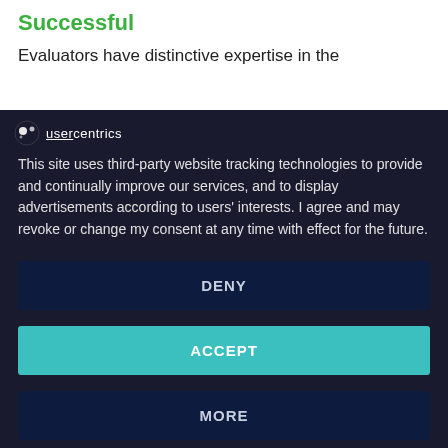Successful
Evaluators have distinctive expertise in the
[Figure (screenshot): Usercentrics cookie consent overlay on dark background with logo, consent text, DENY, ACCEPT, MORE buttons, and eRecht24 powered by footer]
usercentrics
This site uses third-party website tracking technologies to provide and continually improve our services, and to display advertisements according to users' interests. I agree and may revoke or change my consent at any time with effect for the future.
DENY
ACCEPT
MORE
Powered by & eRecht24